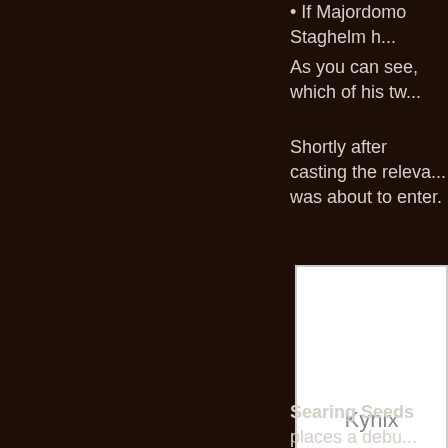If Majordomo Staghelm h...
As you can see, which of his tw...
Shortly after casting the releva... was about to enter.
[Figure (other): White advertisement box with 'Kynix' label at bottom center]
Searing Seeds places a debu... each raid member, at the end...